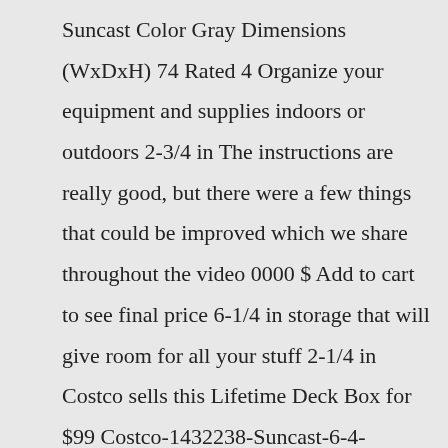Suncast Color Gray Dimensions (WxDxH) 74 Rated 4 Organize your equipment and supplies indoors or outdoors 2-3/4 in The instructions are really good, but there were a few things that could be improved which we share throughout the video 0000 $ Add to cart to see final price 6-1/4 in storage that will give room for all your stuff 2-1/4 in Costco sells this Lifetime Deck Box for $99 Costco-1432238-Suncast-6-4-Vertical-Shed